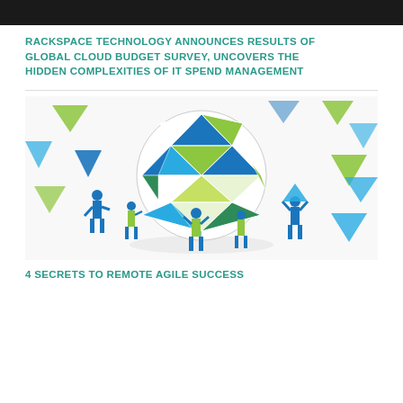[Figure (photo): Dark/black top image strip, partial view of a previous article image]
RACKSPACE TECHNOLOGY ANNOUNCES RESULTS OF GLOBAL CLOUD BUDGET SURVEY, UNCOVERS THE HIDDEN COMPLEXITIES OF IT SPEND MANAGEMENT
[Figure (illustration): Illustration of workers holding up a geometric sphere made of triangular panels in blue, green, and white, surrounded by colorful triangle shapes on a white background]
4 SECRETS TO REMOTE AGILE SUCCESS